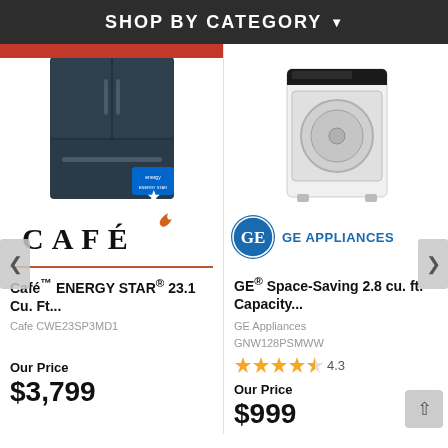SHOP BY CATEGORY
[Figure (photo): Dark navy/black French door refrigerator with ENERGY STAR badge]
[Figure (logo): Cafe brand logo with orange flame accent and underline]
Café™ ENERGY STAR® 23.1 Cu. Ft...
Cafe CWE23SP3MD1
Our Price
$3,799
[Figure (photo): White top-load portable washing machine]
[Figure (logo): GE Appliances logo - blue circle with GE monogram and text GE APPLIANCES]
GE® Space-Saving 2.8 cu. ft. Capacity...
GE Appliances GNW128PSMWW
4.3
Our Price
$999